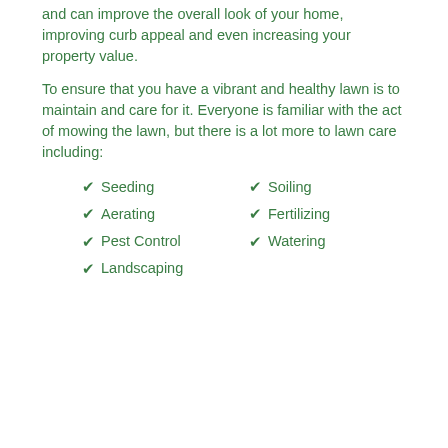and can improve the overall look of your home, improving curb appeal and even increasing your property value.
To ensure that you have a vibrant and healthy lawn is to maintain and care for it. Everyone is familiar with the act of mowing the lawn, but there is a lot more to lawn care including:
Seeding
Soiling
Aerating
Fertilizing
Pest Control
Watering
Landscaping